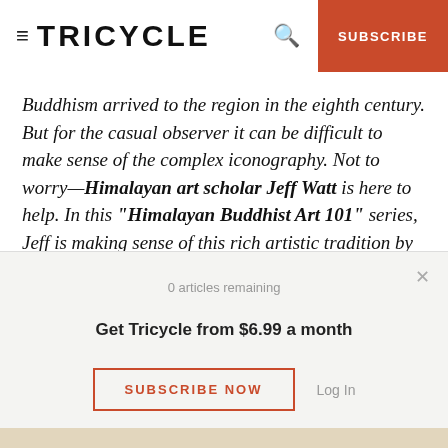TRICYCLE
Buddhism arrived to the region in the eighth century. But for the casual observer it can be difficult to make sense of the complex iconography. Not to worry—Himalayan art scholar Jeff Watt is here to help. In this “Himalayan Buddhist Art 101” series, Jeff is making sense of this rich artistic tradition by presenting weekly images from the Himalayan Art Resources archives and explaining their roles in the Buddhist tradition.
0 articles remaining
Get Tricycle from $6.99 a month
SUBSCRIBE NOW
Log In